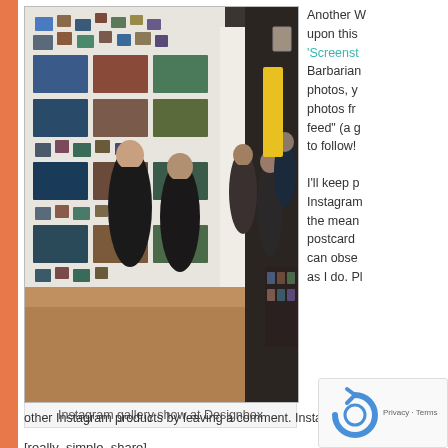[Figure (photo): Interior of an art gallery showing Instagram photos displayed on white walls. Several visitors are browsing the exhibition. The space has exposed ceiling and wooden floors.]
Instagram gallery show at Designbox
Another W upon this 'Screens Barbarian photos, y photos fr feed" (a g to follow!
I'll keep p Instagram the mean postcard can obse as I do. Pl other Instagram products by leaving a comment. Instagram-on, frie
[really_simple_share]
Share this:
Facebook
LinkedIn
Twitter